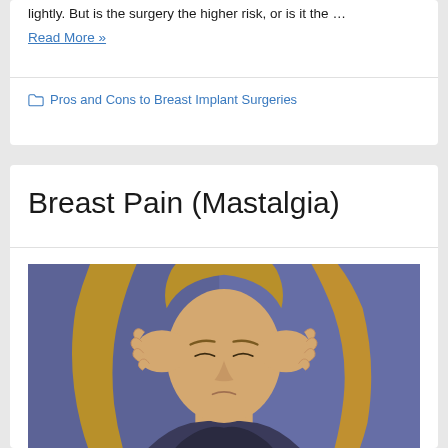lightly. But is the surgery the higher risk, or is it the …
Read More »
Pros and Cons to Breast Implant Surgeries
Breast Pain (Mastalgia)
[Figure (photo): A woman with long blonde hair holding her hands to her temples/head with eyes closed, appearing to be in pain, against a blue-purple background.]